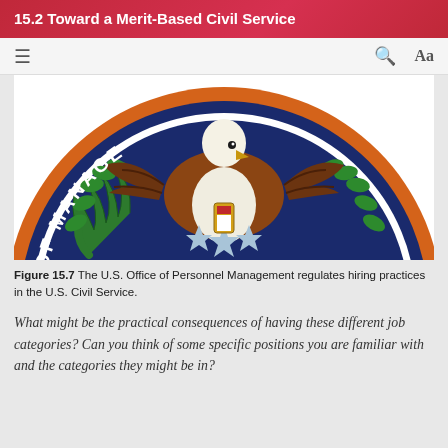15.2 Toward a Merit-Based Civil Service
[Figure (logo): Partial view of the seal of the U.S. Office of Personnel Management, showing an eagle, laurel branches, and the text 'OF PERSONNEL MANAGE' around the circular border on a navy blue background with orange border.]
Figure 15.7 The U.S. Office of Personnel Management regulates hiring practices in the U.S. Civil Service.
What might be the practical consequences of having these different job categories? Can you think of some specific positions you are familiar with and the categories they might be in?